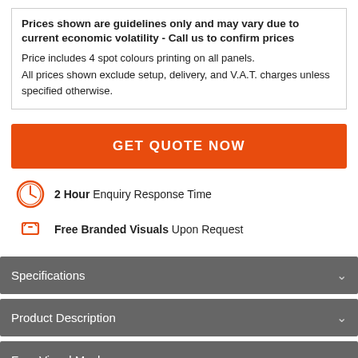Prices shown are guidelines only and may vary due to current economic volatility - Call us to confirm prices
Price includes 4 spot colours printing on all panels.
All prices shown exclude setup, delivery, and V.A.T. charges unless specified otherwise.
[Figure (other): Orange GET QUOTE NOW button]
[Figure (infographic): 2 Hour Enquiry Response Time and Free Branded Visuals Upon Request with clock and pencil icons]
Specifications
Product Description
Free Visual Mockup
Straight forward Steps To Perfect Products